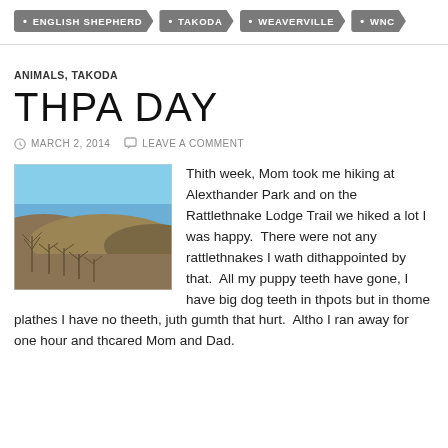ENGLISH SHEPHERD
TAKODA
WEAVERVILLE
WNC
ANIMALS, TAKODA
THPA DAY
MARCH 2, 2014   LEAVE A COMMENT
[Figure (photo): Outdoor landscape photo showing rolling hills with dry brown vegetation and bare shrubs/trees in the foreground, and a blue sky above.]
Thith week, Mom took me hiking at Alexthander Park and on the Rattlethnake Lodge Trail we hiked a lot I was happy.  There were not any rattlethnakes I wath dithappointed by that.  All my puppy teeth have gone, I have big dog teeth in thpots but in thome plathes I have no theeth, juth gumth that hurt.  Altho I ran away for one hour and thcared Mom and Dad.